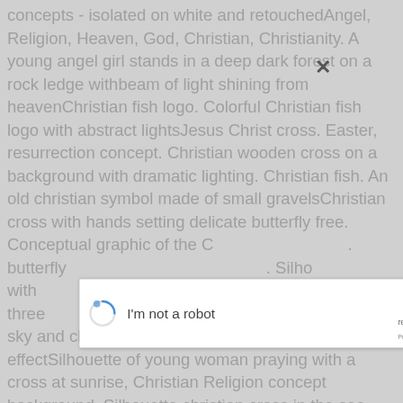concepts - isolated on white and retouchedAngel, Religion, Heaven, God, Christian, Christianity. A young angel girl stands in a deep dark forest on a rock ledge with beam of light shining from heavenChristian fish logo. Colorful Christian fish logo with abstract lightsJesus Christ cross. Easter, resurrection concept. Christian wooden cross on a background with dramatic lighting. Christian fish. An old christian symbol made of small gravelsChristian cross with hands setting delicate butterfly free. Conceptual graphic of the Christian message. Butterfly with christian message. Silhouette christian cross in the sea with three crosses sky and cloud background. With ray of light effectSilhouette of young woman praying with a cross at sunrise, Christian Religion concept background. Silhouette christian cross in the sea, sunrise shot. Aerial view over silhouette christian cross in the sea, sunrise shotChristian Christmas. Christmas candle with Christ and Christian topic in female handsChristian Island Sunset - Georgian Bay in Winter. Winter sunset on Georgian Bay near Christian Island in late February as the ice begins to break up and wearyChristian Flag. A Christian Flag flying on a bright dayChristian woman with cross in hands praying hope and worship on the raindrop background. Abstract lighting. Eucharist therapy
[Figure (screenshot): A reCAPTCHA dialog box overlaid on the page. It contains a circular spinner/loading indicator on the left, the text 'I'm not a robot' in the center, and the reCAPTCHA logo with 'reCAPTCHA' and 'Privacy - Terms' text on the right.]